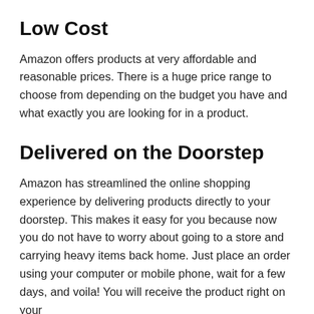Low Cost
Amazon offers products at very affordable and reasonable prices. There is a huge price range to choose from depending on the budget you have and what exactly you are looking for in a product.
Delivered on the Doorstep
Amazon has streamlined the online shopping experience by delivering products directly to your doorstep. This makes it easy for you because now you do not have to worry about going to a store and carrying heavy items back home. Just place an order using your computer or mobile phone, wait for a few days, and voila! You will receive the product right on your